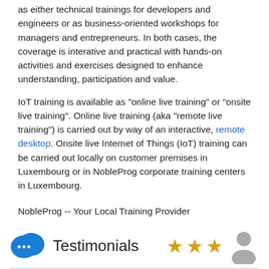as either technical trainings for developers and engineers or as business-oriented workshops for managers and entrepreneurs. In both cases, the coverage is interative and practical with hands-on activities and exercises designed to enhance understanding, participation and value.
IoT training is available as "online live training" or "onsite live training". Online live training (aka "remote live training") is carried out by way of an interactive, remote desktop. Onsite live Internet of Things (IoT) training can be carried out locally on customer premises in Luxembourg or in NobleProg corporate training centers in Luxembourg.
NobleProg -- Your Local Training Provider
Testimonials
I liked the exercises.
Rehrig Pacific COmpany